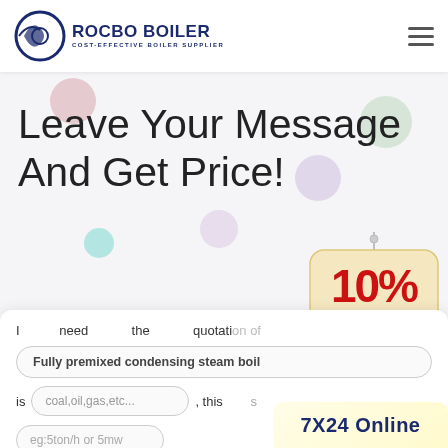[Figure (logo): Rocbo Boiler logo with circular icon on left and company name and tagline on right]
Leave Your Message And Get Price!
[Figure (illustration): 10% DISCOUNT badge/sign hanging with decorative colored bubbles in background]
[Figure (photo): Customer service woman with headset]
I need the quotation of
Fully premixed condensing steam boil
is coal,oil,gas,etc... , this boiler is
eg:5ton/h or 5mw
[Figure (infographic): 7X24 Online badge in yellow background]